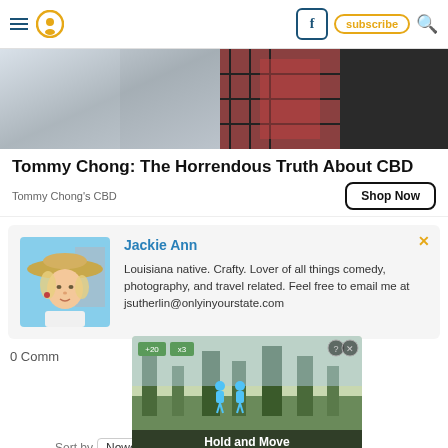Navigation header with hamburger menu, pin icon, Facebook button, subscribe button, search icon
[Figure (photo): Partial hero image showing what appears to be clothing/accessories - silver fabric and a plaid tie against dark jacket]
Tommy Chong: The Horrendous Truth About CBD
Tommy Chong's CBD
Shop Now
[Figure (photo): Author photo of Jackie Ann - woman with blonde hair wearing a large straw hat, outdoor setting]
Jackie Ann
Louisiana native. Crafty. Lover of all things comedy, photography, and travel related. Feel free to email me at jsutherlin@onlyinyourstate.com
0 Comm
Sort by Newest
[Figure (screenshot): Overlay advertisement for a game called 'Hold and Move' showing game interface with score boxes and player icons over an outdoor background]